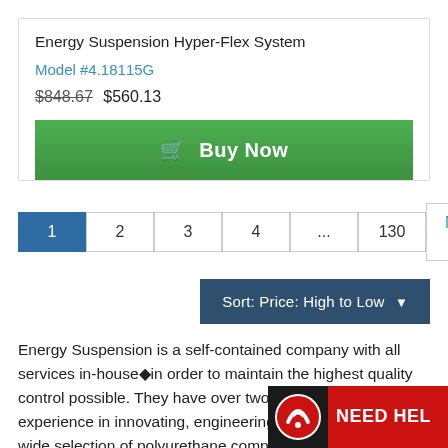Energy Suspension Hyper-Flex System
Model #4.18115G
$848.67  $560.13
[Figure (other): Green 'Buy Now' button with shopping cart icon]
[Figure (other): Pagination bar: 1 (active), 2, 3, 4, ..., 130, Next »]
[Figure (other): Sort dropdown button: Sort: Price: High to Low]
Energy Suspension is a self-contained company with all services in-house◆in order to maintain the highest quality control possible. They have over two decades of in-house experience in innovating, engineering and formulating a wide selection of polyurethane components for many different industries. This Suspension as a premier manufacturer of the h
[Figure (logo): Need Help badge in bottom right corner with logo icon]